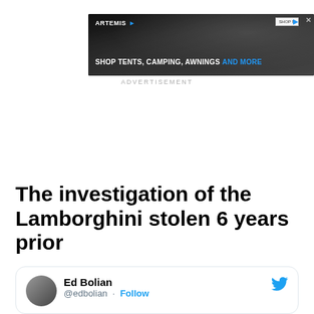[Figure (screenshot): Advertisement banner for Artemis: Shop Tents, Camping, Awnings AND MORE with dark background showing moon/rocky terrain]
ADVERTISEMENT
The investigation of the Lamborghini stolen 6 years prior
[Figure (screenshot): Tweet card showing Ed Bolian @edbolian with Follow button and Twitter bird logo]